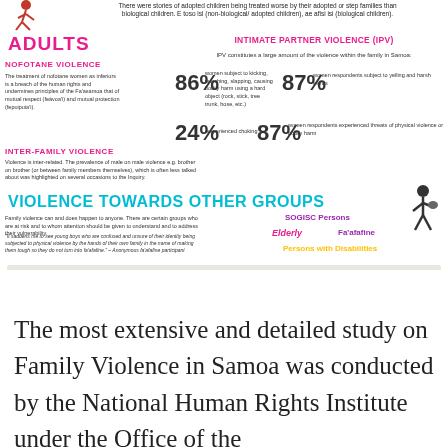[Figure (infographic): Infographic about family violence in Samoa covering adults section with NOFOTANE VIOLENCE, INTIMATE PARTNER VIOLENCE (IPV) statistics (86%, 87%, 24%, 87%), INTER-FAMILY VIOLENCE, VIOLENCE TOWARDS OTHER GROUPS sections with groups: SOGISC Persons, Elderly, Fa'afafine, Persons with Disabilities. Source: National Public Inquiry into Family Violence Consultations 2017.]
The most extensive and detailed study on Family Violence in Samoa was conducted by the National Human Rights Institute under the Office of the